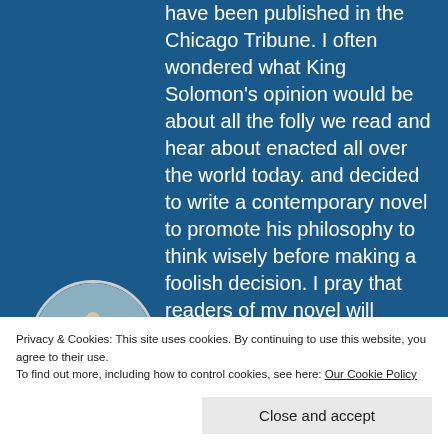have been published in the Chicago Tribune. I often wondered what King Solomon's opinion would be about all the folly we read and hear about enacted all over the world today. and decided to write a contemporary novel to promote his philosophy to think wisely before making a foolish decision. I pray that readers of my novel will receive a numinous touch to help them make wise choices to benefit themselves, their family, friends, and communities. Rudy U Martinka attended Northwestern
[Figure (photo): Circular author photo showing a person standing near water/beach]
and Elmhurst Auxiliary Police.
Privacy & Cookies: This site uses cookies. By continuing to use this website, you agree to their use.
To find out more, including how to control cookies, see here: Our Cookie Policy